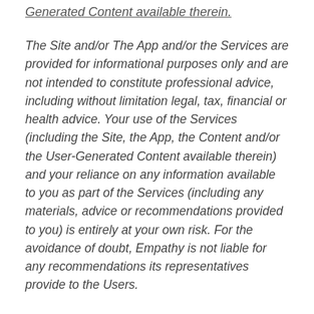Generated Content available therein.
The Site and/or The App and/or the Services are provided for informational purposes only and are not intended to constitute professional advice, including without limitation legal, tax, financial or health advice. Your use of the Services (including the Site, the App, the Content and/or the User-Generated Content available therein) and your reliance on any information available to you as part of the Services (including any materials, advice or recommendations provided to you) is entirely at your own risk. For the avoidance of doubt, Empathy is not liable for any recommendations its representatives provide to the Users.
Please note that we cannot fully promise that we